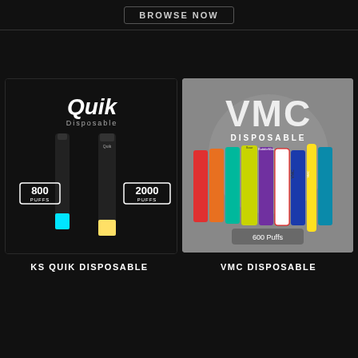BROWSE NOW
[Figure (illustration): KS QUIK Disposable vape product image showing two black disposable vape pens labeled 800 PUFFS and 2000 PUFFS on a dark background with Quik branding]
[Figure (illustration): VMC Disposable vape product image showing multiple colorful disposable vape devices labeled 600 Puffs on a grey background with VMC branding]
KS QUIK DISPOSABLE
VMC DISPOSABLE